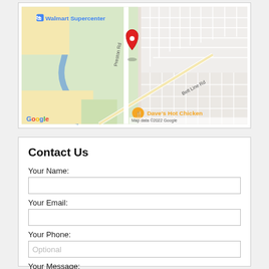[Figure (map): Google Maps screenshot showing a location pin (red) near Preston Rd and Belt Line Rd intersection. Walmart Supercenter visible in upper left. Dave's Hot Chicken visible at bottom. Map data ©2022 Google credit shown.]
Contact Us
Your Name:
Your Email:
Your Phone:
Your Message: